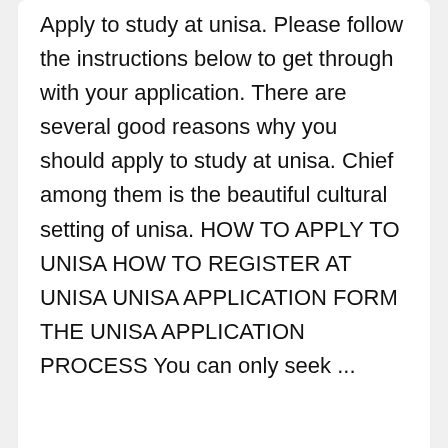Apply to study at unisa. Please follow the instructions below to get through with your application. There are several good reasons why you should apply to study at unisa. Chief among them is the beautiful cultural setting of unisa. HOW TO APPLY TO UNISA HOW TO REGISTER AT UNISA UNISA APPLICATION FORM THE UNISA APPLICATION PROCESS You can only seek ...